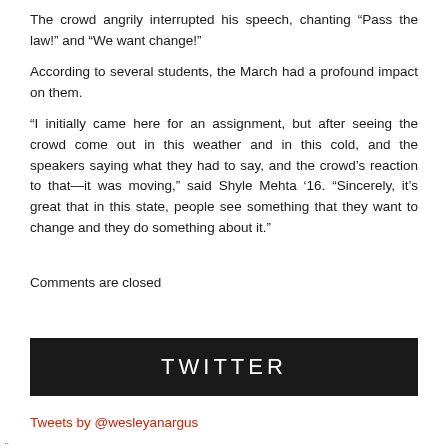The crowd angrily interrupted his speech, chanting “Pass the law!” and “We want change!”
According to several students, the March had a profound impact on them.
“I initially came here for an assignment, but after seeing the crowd come out in this weather and in this cold, and the speakers saying what they had to say, and the crowd’s reaction to that—it was moving,” said Shyle Mehta ’16. “Sincerely, it’s great that in this state, people see something that they want to change and they do something about it.”
Comments are closed
TWITTER
Tweets by @wesleyanargus